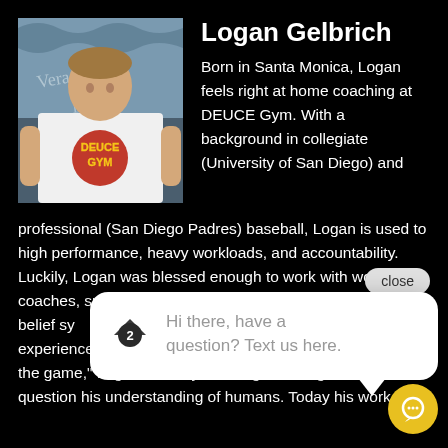[Figure (photo): Profile photo of Logan Gelbrich wearing a white DEUCE Gym t-shirt]
Logan Gelbrich
Born in Santa Monica, Logan feels right at home coaching at DEUCE Gym. With a background in collegiate (University of San Diego) and professional (San Diego Padres) baseball, Logan is used to high performance, heavy workloads, and accountability. Luckily, Logan was blessed enough to work with world class coaches, sports scientists throughout his career. It's clear that his appreciation for the belief systems he encountered at CrossFit Games and Strongman Nationals. These experiences guide his coaching today. Forever a “student of the game,” Logan is always looking to strengthen and question his understanding of humans. Today his work
Hi there, have a question? Text us here.